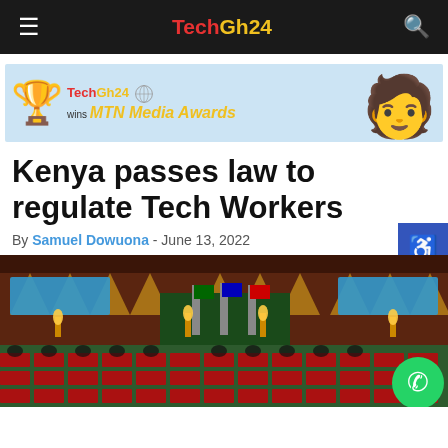TechGh24
[Figure (illustration): TechGh24 wins MTN Media Awards banner advertisement with trophy, logo, and person in yellow shirt]
Kenya passes law to regulate Tech Workers
By Samuel Dowuona - June 13, 2022
[Figure (photo): Kenya parliament chamber with members seated during a session, flags visible at the podium]